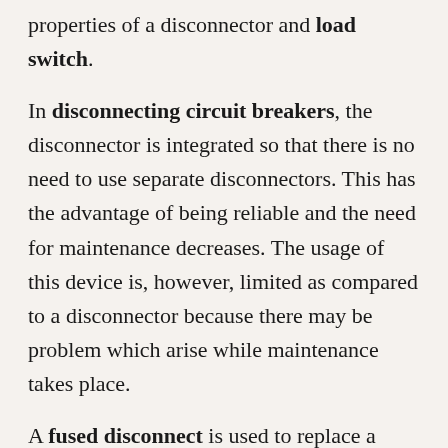properties of a disconnector and load switch.
In disconnecting circuit breakers, the disconnector is integrated so that there is no need to use separate disconnectors. This has the advantage of being reliable and the need for maintenance decreases. The usage of this device is, however, limited as compared to a disconnector because there may be problem which arise while maintenance takes place.
A fused disconnect is used to replace a circuit breaker as it works in the same way and is cheaper. It can turn a circuit on or off and its fuses can provide protection. Having more information about electrical breakers and disconnectors can help you